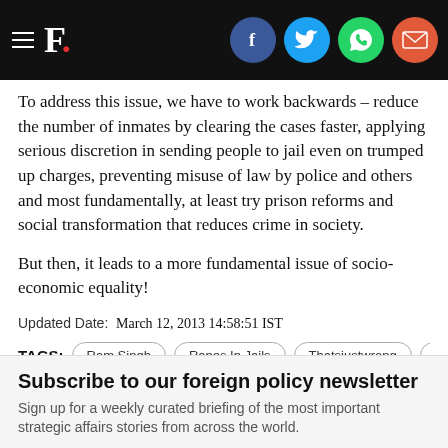F. [social icons: Facebook, Twitter, WhatsApp, Email]
To address this issue, we have to work backwards – reduce the number of inmates by clearing the cases faster, applying serious discretion in sending people to jail even on trumped up charges, preventing misuse of law by police and others and most fundamentally, at least try prison reforms and social transformation that reduces crime in society.
But then, it leads to a more fundamental issue of socio-economic equality!
Updated Date:  March 12, 2013 14:58:51 IST
TAGS: Ram Singh | Rapes In Jails | Thatsjustwrong | Tiha…
Subscribe to our foreign policy newsletter
Sign up for a weekly curated briefing of the most important strategic affairs stories from across the world.